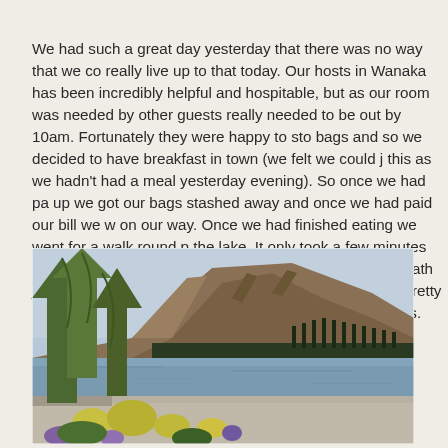We had such a great day yesterday that there was no way that we co really live up to that today. Our hosts in Wanaka has been incredibly helpful and hospitable, but as our room was needed by other guests really needed to be out by 10am. Fortunately they were happy to sto bags and so we decided to have breakfast in town (we felt we could j this as we hadn't had a meal yesterday evening). So once we had pa up we got our bags stashed away and once we had paid our bill we w on our way. Once we had finished eating we went for a walk round p the lake. It only took a few minutes to get out of the town and then we were walking on the path just above the beach and the scenery was all the more pretty for the trees, mainly willows interspersed with clum lupins.
[Figure (photo): Lakeside scene at Wanaka, New Zealand. A pebbly beach in the foreground with yellow and purple lupin flowers and willow trees on the left. A calm lake in the middle ground with tall poplar trees along the far shore, and a large brown mountain (Roy's Peak area) rising steeply in the background under an overcast sky.]